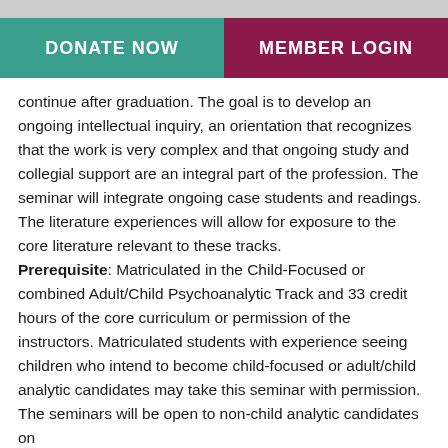DONATE NOW | MEMBER LOGIN
continue after graduation. The goal is to develop an ongoing intellectual inquiry, an orientation that recognizes that the work is very complex and that ongoing study and collegial support are an integral part of the profession. The seminar will integrate ongoing case students and readings. The literature experiences will allow for exposure to the core literature relevant to these tracks.
Prerequisite: Matriculated in the Child-Focused or combined Adult/Child Psychoanalytic Track and 33 credit hours of the core curriculum or permission of the instructors. Matriculated students with experience seeing children who intend to become child-focused or adult/child analytic candidates may take this seminar with permission. The seminars will be open to non-child analytic candidates on